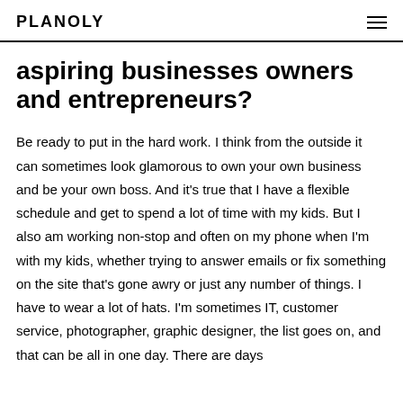PLANOLY
aspiring businesses owners and entrepreneurs?
Be ready to put in the hard work. I think from the outside it can sometimes look glamorous to own your own business and be your own boss. And it's true that I have a flexible schedule and get to spend a lot of time with my kids. But I also am working non-stop and often on my phone when I'm with my kids, whether trying to answer emails or fix something on the site that's gone awry or just any number of things. I have to wear a lot of hats. I'm sometimes IT, customer service, photographer, graphic designer, the list goes on, and that can be all in one day. There are days